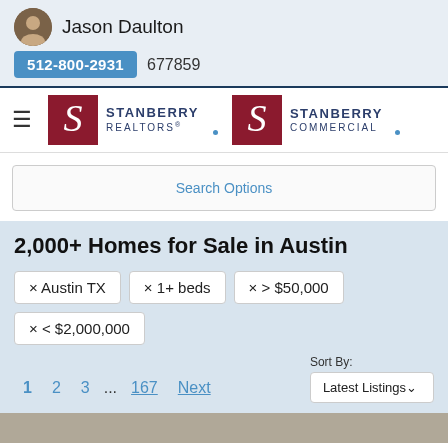Jason Daulton
512-800-2931  677859
[Figure (logo): Stanberry Realtors and Stanberry Commercial logos with stylized S icons]
Search Options
2,000+ Homes for Sale in Austin
× Austin TX
× 1+ beds
× > $50,000
× < $2,000,000
Sort By: Latest Listings
1  2  3  ...  167  Next